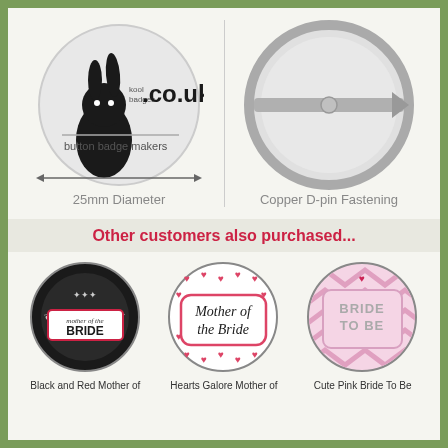[Figure (illustration): Front view of a 25mm button badge with koolbadges.co.uk logo and rabbit mascot, with double-headed arrow indicating diameter]
25mm Diameter
[Figure (illustration): Back view of button badge showing copper D-pin fastening mechanism]
Copper D-pin Fastening
Other customers also purchased...
[Figure (photo): Black and Red Mother of the Bride badge with damask pattern]
[Figure (photo): Hearts Galore Mother of the Bride badge with pink hearts pattern]
[Figure (photo): Cute Pink Bride To Be badge with chevron pattern]
Black and Red Mother of
Hearts Galore Mother of
Cute Pink Bride To Be